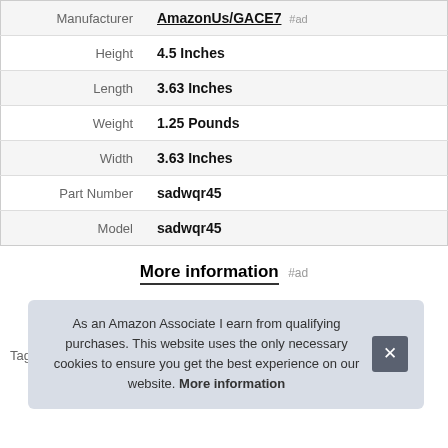| Attribute | Value |
| --- | --- |
| Manufacturer | AmazonUs/GACE7 #ad |
| Height | 4.5 Inches |
| Length | 3.63 Inches |
| Weight | 1.25 Pounds |
| Width | 3.63 Inches |
| Part Number | sadwqr45 |
| Model | sadwqr45 |
More information #ad
Tags
As an Amazon Associate I earn from qualifying purchases. This website uses the only necessary cookies to ensure you get the best experience on our website. More information